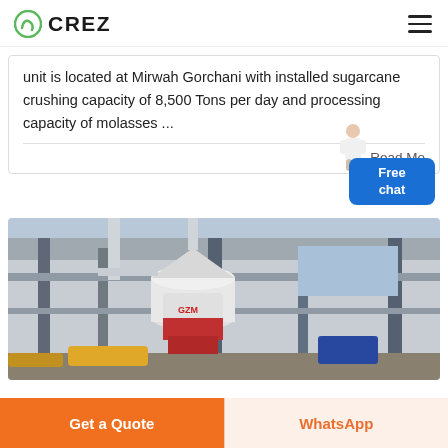CREZ
unit is located at Mirwah Gorchani with installed sugarcane crushing capacity of 8,500 Tons per day and processing capacity of molasses ...
Read Mo...
[Figure (photo): Industrial mill or grinding equipment inside a large factory building, showing a large white vertical mill machine with red base, surrounded by steel columns and concrete structure, blue sky visible in background.]
Get a Quote
WhatsApp